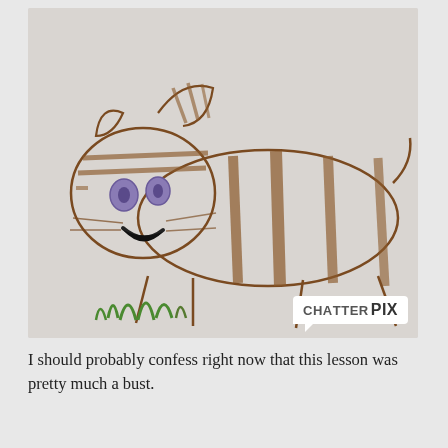[Figure (illustration): A child's crayon drawing of a cat with striped markings, purple eyes, a black mouth, whiskers, four stick legs, and green grass at the bottom left. A ChatterPix watermark logo appears in the bottom right corner.]
I should probably confess right now that this lesson was pretty much a bust.